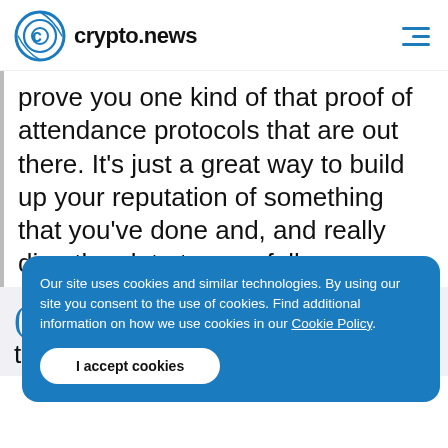crypto.news
prove you one kind of that proof of attendance protocols that are out there. It’s just a great way to build up your reputation of something that you’ve done and, and really directly relate to your followers.
Our site uses cookies and similar technologies. By using our site you consent to the use of cookies. Find additional information on how we use cookies in our Cookie Policy.
I accept cookies
Ye
that, what do you what do you think